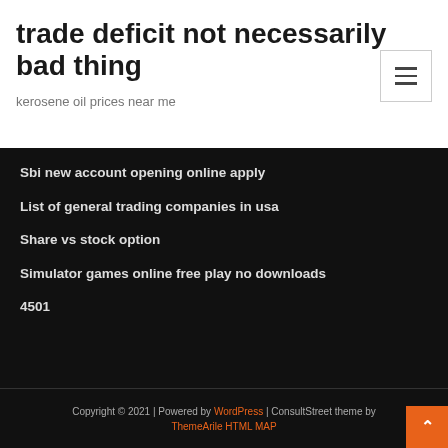trade deficit not necessarily bad thing
kerosene oil prices near me
Sbi new account opening online apply
List of general trading companies in usa
Share vs stock option
Simulator games online free play no downloads
4501
Copyright © 2021 | Powered by WordPress | ConsultStreet theme by ThemeArile HTML MAP